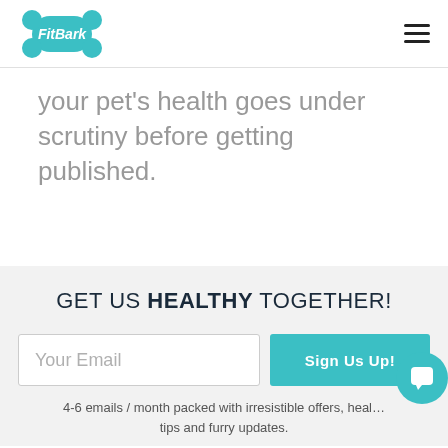[Figure (logo): FitBark logo - teal bone shape with white FitBark text]
your pet's health goes under scrutiny before getting published.
GET US HEALTHY TOGETHER!
Your Email
Sign Us Up!
4-6 emails / month packed with irresistible offers, health tips and furry updates.